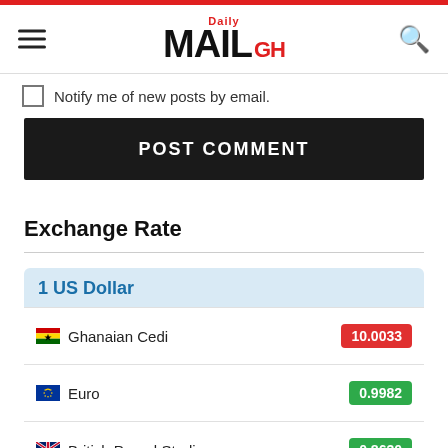Daily MAIL GH
Notify me of new posts by email.
POST COMMENT
Exchange Rate
| Currency | Rate |
| --- | --- |
| 1 US Dollar |  |
| Ghanaian Cedi | 10.0033 |
| Euro | 0.9982 |
| British Pound Sterling | 0.8630 |
| Australian Dollar | 1.4634 |